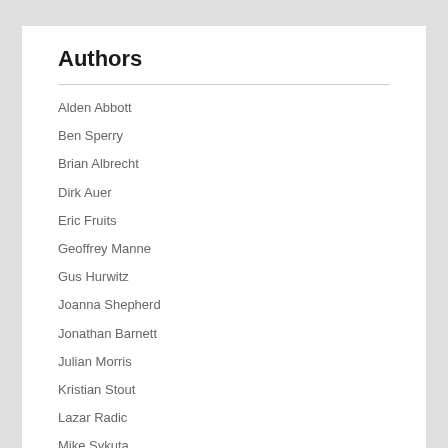Authors
Alden Abbott
Ben Sperry
Brian Albrecht
Dirk Auer
Eric Fruits
Geoffrey Manne
Gus Hurwitz
Joanna Shepherd
Jonathan Barnett
Julian Morris
Kristian Stout
Lazar Radic
Mike Sykuta